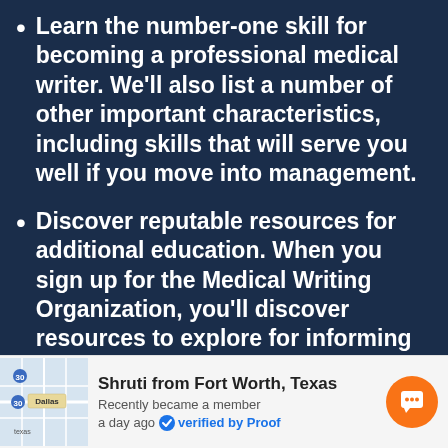Learn the number-one skill for becoming a professional medical writer. We'll also list a number of other important characteristics, including skills that will serve you well if you move into management.
Discover reputable resources for additional education. When you sign up for the Medical Writing Organization, you'll discover resources to explore for informing your writing and strengthening your industry knowledge.
Get a start-to-finish overview of a
Shruti from Fort Worth, Texas
Recently became a member
a day ago  verified by Proof